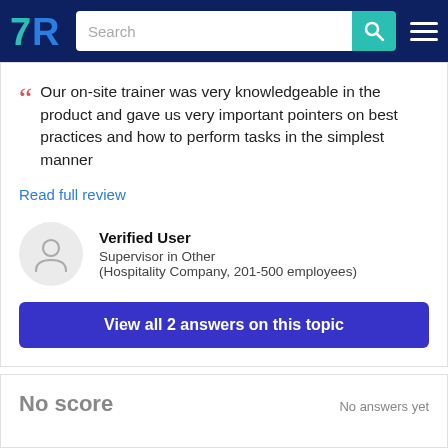TrustRadius navigation bar with logo, search field, and menu
Our on-site trainer was very knowledgeable in the product and gave us very important pointers on best practices and how to perform tasks in the simplest manner
Read full review
Verified User
Supervisor in Other
(Hospitality Company, 201-500 employees)
View all 2 answers on this topic
No score
No answers yet